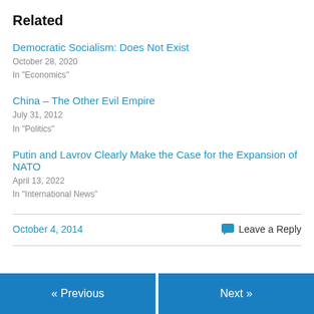Related
Democratic Socialism: Does Not Exist
October 28, 2020
In "Economics"
China – The Other Evil Empire
July 31, 2012
In "Politics"
Putin and Lavrov Clearly Make the Case for the Expansion of NATO
April 13, 2022
In "International News"
October 4, 2014
Leave a Reply
« Previous
Next »